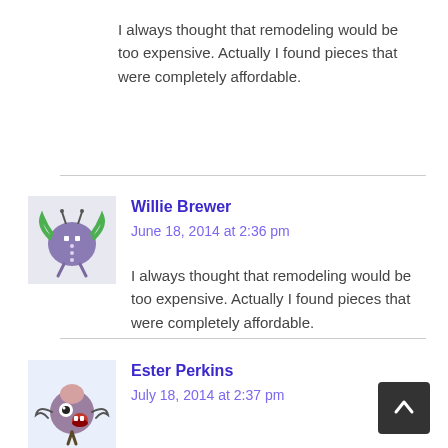I always thought that remodeling would be too expensive. Actually I found pieces that were completely affordable.
[Figure (illustration): Cartoon monster avatar for Willie Brewer — purple round creature with antennae and green pigtails]
Willie Brewer
June 18, 2014 at 2:36 pm
I always thought that remodeling would be too expensive. Actually I found pieces that were completely affordable.
[Figure (illustration): Cartoon monster avatar for Ester Perkins — brown/mauve round creature with eye and open red mouth]
Ester Perkins
July 18, 2014 at 2:37 pm